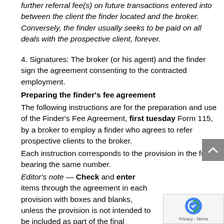further referral fee(s) on future transactions entered into between the client the finder located and the broker. Conversely, the finder usually seeks to be paid on all deals with the prospective client, forever.
4. Signatures: The broker (or his agent) and the finder sign the agreement consenting to the contracted employment.
Preparing the finder's fee agreement
The following instructions are for the preparation and use of the Finder's Fee Agreement, first tuesday Form 115, by a broker to employ a finder who agrees to refer prospective clients to the broker.
Each instruction corresponds to the provision in the form bearing the same number.
Editor's note — Check and enter items through the agreement in each provision with boxes and blanks, unless the provision is not intended to be included as part of the final agreement, in which